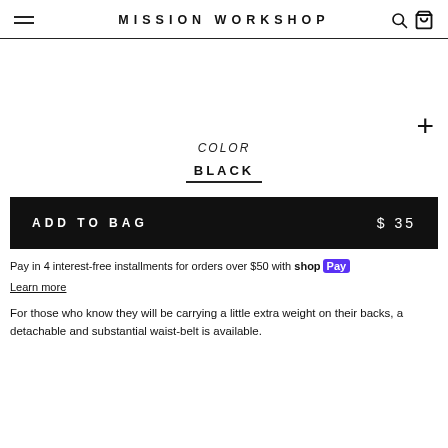MISSION WORKSHOP
COLOR
BLACK
ADD TO BAG   $ 35
Pay in 4 interest-free installments for orders over $50 with shop Pay
Learn more
For those who know they will be carrying a little extra weight on their backs, a detachable and substantial waist-belt is available.